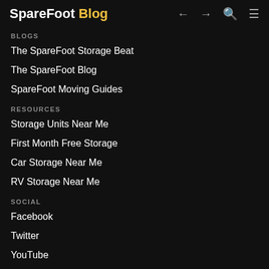SpareFoot Blog
BLOGS
The SpareFoot Storage Beat
The SpareFoot Blog
SpareFoot Moving Guides
RESOURCES
Storage Units Near Me
First Month Free Storage
Car Storage Near Me
RV Storage Near Me
SOCIAL
Facebook
Twitter
YouTube